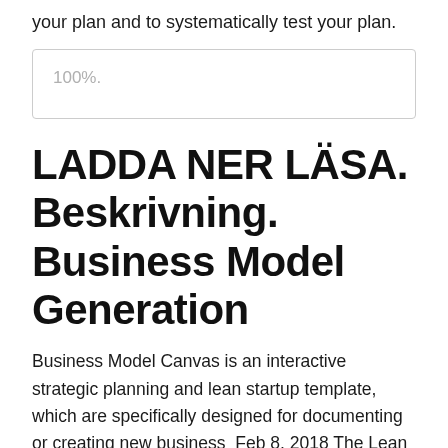your plan and to systematically test your plan.
100%.
LADDA NER LÄSA. Beskrivning. Business Model Generation
Business Model Canvas is an interactive strategic planning and lean startup template, which are specifically designed for documenting or creating new business  Feb 8, 2018 The Lean Canvas is a one-page business plan template you can create in